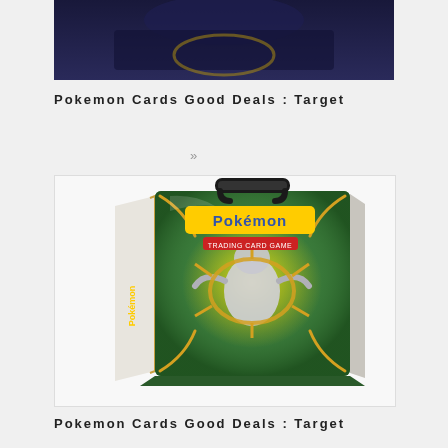[Figure (photo): Partial view of a dark-colored Pokemon card product box or tin at the very top of the page]
Pokemon Cards Good Deals : Target
[Figure (photo): Pokemon Trading Card Game Arceus collector tin with green background showing Arceus Pokemon, with black handle on top]
Pokemon Cards Good Deals : Target
[Figure (photo): Partial view of a bowl of food (vegetables and possibly tofu) at the bottom of the page, partially cut off]